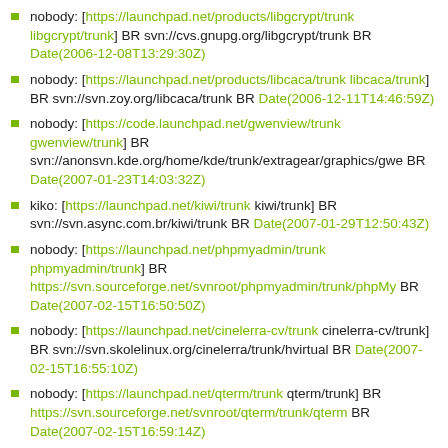nobody: [https://launchpad.net/products/libgcrypt/trunk libgcrypt/trunk] BR svn://cvs.gnupg.org/libgcrypt/trunk BR Date(2006-12-08T13:29:30Z)
nobody: [https://launchpad.net/products/libcaca/trunk libcaca/trunk] BR svn://svn.zoy.org/libcaca/trunk BR Date(2006-12-11T14:46:59Z)
nobody: [https://code.launchpad.net/gwenview/trunk gwenview/trunk] BR svn://anonsvn.kde.org/home/kde/trunk/extragear/graphics/gwe BR Date(2007-01-23T14:03:32Z)
kiko: [https://launchpad.net/kiwi/trunk kiwi/trunk] BR svn://svn.async.com.br/kiwi/trunk BR Date(2007-01-29T12:50:43Z)
nobody: [https://launchpad.net/phpmyadmin/trunk phpmyadmin/trunk] BR https://svn.sourceforge.net/svnroot/phpmyadmin/trunk/phpMy BR Date(2007-02-15T16:50:50Z)
nobody: [https://launchpad.net/cinelerra-cv/trunk cinelerra-cv/trunk] BR svn://svn.skolelinux.org/cinelerra/trunk/hvirtual BR Date(2007-02-15T16:55:10Z)
nobody: [https://launchpad.net/qterm/trunk qterm/trunk] BR https://svn.sourceforge.net/svnroot/qterm/trunk/qterm BR Date(2007-02-15T16:59:14Z)
nobody: [https://launchpad.net/bioclipse/trunk